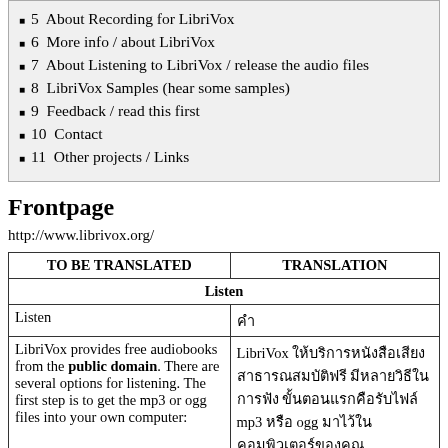5  About Recording for LibriVox
6  More info / about LibriVox
7  About Listening to LibriVox / release the audio files
8  LibriVox Samples (hear some samples)
9  Feedback / read this first
10  Contact
11  Other projects / Links
Frontpage
http://www.librivox.org/
| TO BE TRANSLATED | TRANSLATION |
| --- | --- |
| Listen | คำ |
| LibriVox provides free audiobooks from the public domain. There are several options for listening. The first step is to get the mp3 or ogg files into your own computer: | LibriVox ให้บริการหนังสือเสียงสาธารณสมบัติฟรี มีหลายวิธีในการฟัง ขั้นตอนแรกคือรับไฟล์ mp3 หรือ ogg มาไว้ในคอมพิวเตอร์ของคุณ |